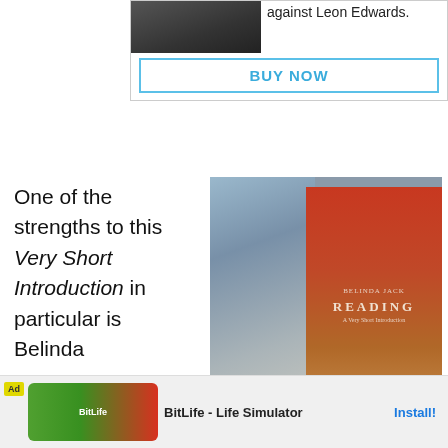[Figure (screenshot): Advertisement banner with cropped image of person with championship belt and text 'against Leon Edwards.' with a BUY NOW button]
One of the strengths to this Very Short Introduction in particular is Belinda
[Figure (photo): Photo of a cat next to a red book titled 'Reading: A Very Short Introduction' being held by a hand]
Jack's ... ok, to drill d...
[Figure (screenshot): BitLife - Life Simulator advertisement banner with Install button]